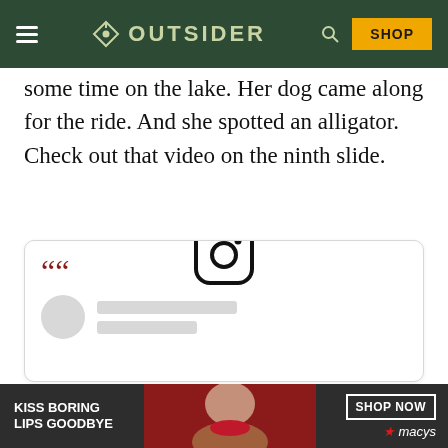OUTSIDER
some time on the lake. Her dog came along for the ride. And she spotted an alligator. Check out that video on the ninth slide.
[Figure (screenshot): Embedded social media (Instagram) card with quote marks, blurred profile avatar and name lines placeholder, and Instagram icon at bottom.]
KISS BORING LIPS GOODBYE  SHOP NOW  ★macys